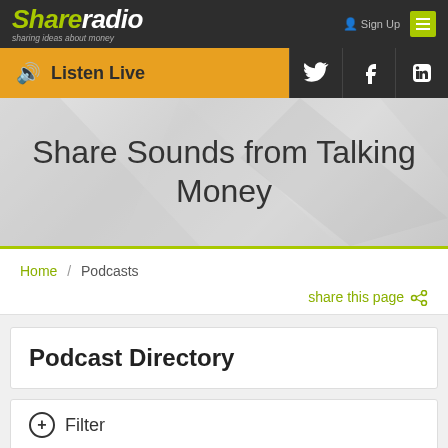Share Radio — sharing ideas about money
Listen Live | Twitter | Facebook | LinkedIn
Share Sounds from Talking Money
Home / Podcasts
share this page
Podcast Directory
+ Filter